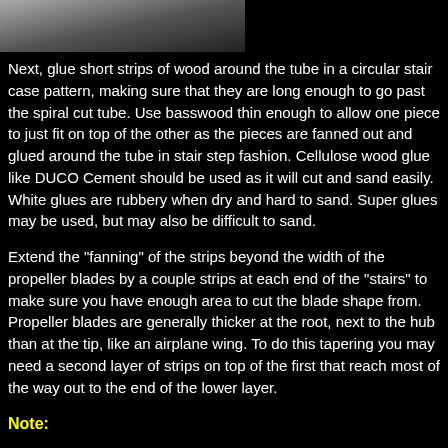[Figure (photo): Partial view of a model/craft component, appears to show a white/grey surface against dark background]
Next, glue short strips of wood around the tube in a circular stair case pattern, making sure that they are long enough to go past the spiral cut tube. Use basswood thin enough to allow one piece to just fit on top of the other as the pieces are fanned out and glued around the tube in stair step fashion. Cellulose wood glue like DUCO Cement should be used as it will cut and sand easily. White glues are rubbery when dry and hard to sand. Super glues may be used, but may also be difficult to sand.
Extend the "fanning" of the strips beyond the width of the propeller blades by a couple strips at each end of the "stairs" to make sure you have enough area to cut the blade shape from. Propeller blades are generally thicker at the root, next to the hub than at the tip, like an airplane wing. To do this tapering you may need a second layer of strips on top of the first that reach most of the way out to the end of the lower layer.
Note:
Don't use flat-toothpicks, as their grain is hard and unpredictable. Their thickness about right but they are hard